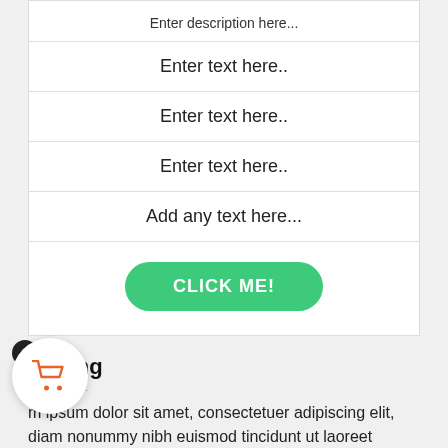Enter description here...
Enter text here..
Enter text here..
Enter text here..
Add any text here...
CLICK ME!
Pricing
m ipsum dolor sit amet, consectetuer adipiscing elit, diam nonummy nibh euismod tincidunt ut laoreet